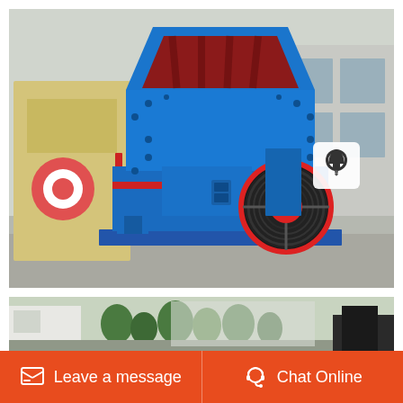[Figure (photo): Large industrial impact crusher / hammer mill machine in blue and red colors, photographed outdoors in a factory yard. Machine has a large black flywheel with red center on the right side, and a red-lined feed opening at the top. A yellow/cream colored machine is visible in the background on the left. A small notification bell icon button is overlaid in the top-right corner of the photo.]
[Figure (photo): Thumbnail strip photo showing an outdoor industrial facility with trees, buildings, and heavy equipment in the background.]
Leave a message
Chat Online